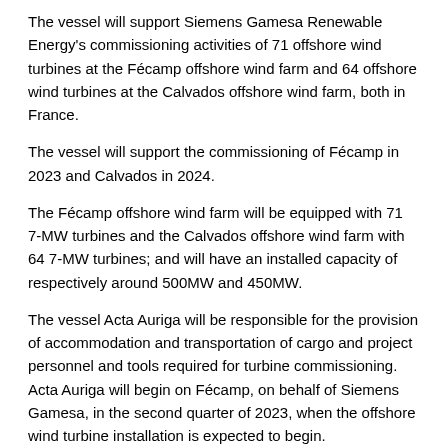The vessel will support Siemens Gamesa Renewable Energy's commissioning activities of 71 offshore wind turbines at the Fécamp offshore wind farm and 64 offshore wind turbines at the Calvados offshore wind farm, both in France.
The vessel will support the commissioning of Fécamp in 2023 and Calvados in 2024.
The Fécamp offshore wind farm will be equipped with 71 7-MW turbines and the Calvados offshore wind farm with 64 7-MW turbines; and will have an installed capacity of respectively around 500MW and 450MW.
The vessel Acta Auriga will be responsible for the provision of accommodation and transportation of cargo and project personnel and tools required for turbine commissioning. Acta Auriga will begin on Fécamp, on behalf of Siemens Gamesa, in the second quarter of 2023, when the offshore wind turbine installation is expected to begin.
Departing from the Port of Le Havre, the vessel will assist in the